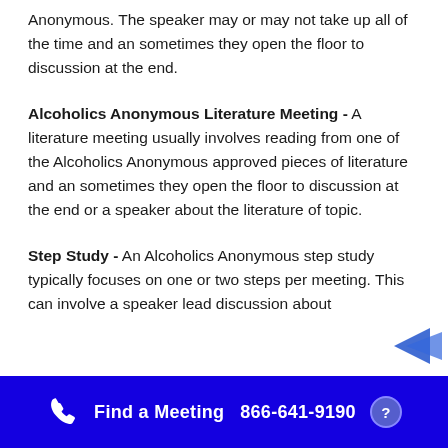Anonymous. The speaker may or may not take up all of the time and an sometimes they open the floor to discussion at the end.
Alcoholics Anonymous Literature Meeting - A literature meeting usually involves reading from one of the Alcoholics Anonymous approved pieces of literature and an sometimes they open the floor to discussion at the end or a speaker about the literature of topic.
Step Study - An Alcoholics Anonymous step study typically focuses on one or two steps per meeting. This can involve a speaker lead discussion about
Find a Meeting  866-641-9190